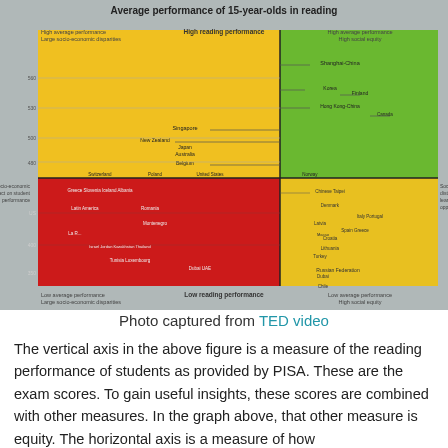[Figure (infographic): A quadrant chart titled 'Average performance of 15-year-olds in reading' showing countries plotted by reading performance (vertical axis) and socio-economic equity (horizontal axis). Quadrants are colored: top-left yellow (high average, large socio-economic disparities), top-right green (high average, high social equity), bottom-left red (low performance, large disparities), bottom-right yellow (low performance, socially equitable). Countries labeled include Shanghai-China, Korea, Finland, Hong Kong-China, Canada, Singapore, New Zealand, Japan, Australia, Belgium, Switzerland, Poland, United States, Chinese Taipei, Denmark, Italy, Portugal, Spain, Greece, Lithuania, Turkey, Russian Federation, Chile, Dubai, and others.]
Photo captured from TED video
The vertical axis in the above figure is a measure of the reading performance of students as provided by PISA. These are the exam scores. To gain useful insights, these scores are combined with other measures. In the graph above, that other measure is equity. The horizontal axis is a measure of how